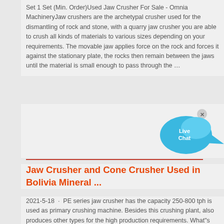Set 1 Set (Min. Order)Used Jaw Crusher For Sale - Omnia MachineryJaw crushers are the archetypal crusher used for the dismantling of rock and stone, with a quarry jaw crusher you are able to crush all kinds of materials to various sizes depending on your requirements. The movable jaw applies force on the rock and forces it against the stationary plate, the rocks then remain between the jaws until the material is small enough to pass through the …
[Figure (illustration): Live Chat button - a blue speech bubble with 'Live Chat' text and a close X button]
Jaw Crusher and Cone Crusher Used in Bolivia Mineral ...
2021-5-18 · PE series jaw crusher has the capacity 250-800 tph is used as primary crushing machine. Besides this crushing plant, also produces other types for the high production requirements. What"s more, you can also choose our new European jaw crushing machine. Secondary crushing equipment adopts the HPC cone crusher whose capacity is 150-450 tph.Portable Rock Crusher / Aggregate Crushing Plant For Sale ...2022-2-11 · Used 2000 TRIO 3242 Portable Jaw